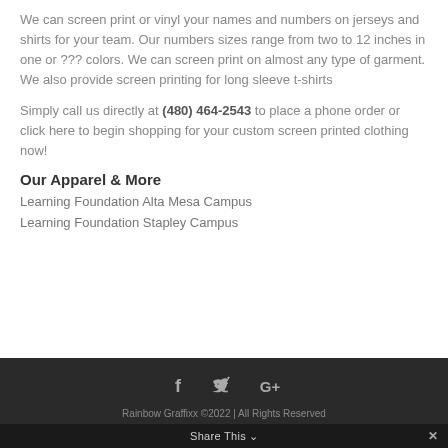We can screen print or vinyl your names and numbers on jerseys and shirts for your team. Our numbers sizes range from two to 12 inches in one or ??? colors. We can screen print on almost any type of garment. We also provide screen printing for long sleeve t-shirts
Simply call us directly at (480) 464-2543 to place a phone order or click here to begin shopping for your custom screen printed clothing now!
Our Apparel & More
Learning Foundation Alta Mesa Campus
Learning Foundation Stapley Campus
Rainbow Graffixx ©2022 | All Rights Reserved